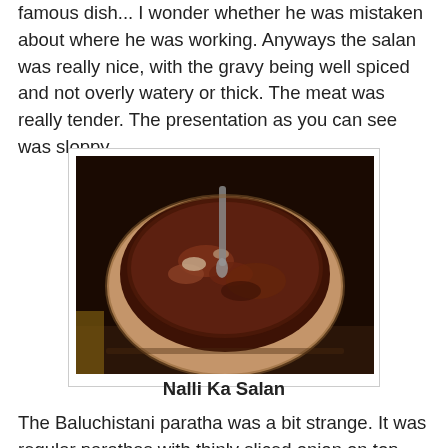famous dish... I wonder whether he was mistaken about where he was working. Anyways the salan was really nice, with the gravy being well spiced and not overly watery or thick. The meat was really tender. The presentation as you can see was sloppy.
[Figure (photo): A bowl of Nalli Ka Salan — dark brown curry/gravy in a round bowl, photographed from above in dim lighting. A spoon is visible in the bowl.]
Nalli Ka Salan
The Baluchistani paratha was a bit strange. It was regular parathas with thinly sliced onion on top with some coriander leaves sprinkled with tomato sauce!! Am really not sure what baluchistani paratha is supposed to taste like but I sure don't